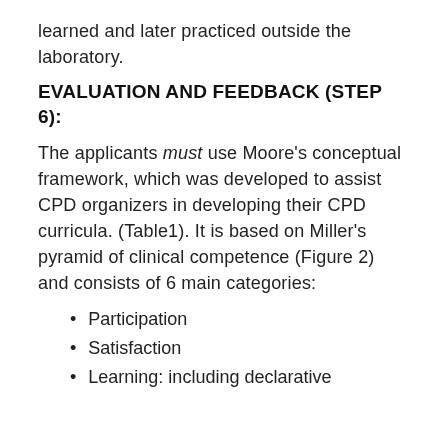learned and later practiced outside the laboratory.
EVALUATION AND FEEDBACK (STEP 6):
The applicants must use Moore’s conceptual framework, which was developed to assist CPD organizers in developing their CPD curricula. (Table1). It is based on Miller’s pyramid of clinical competence (Figure 2) and consists of 6 main categories:
Participation
Satisfaction
Learning: including declarative